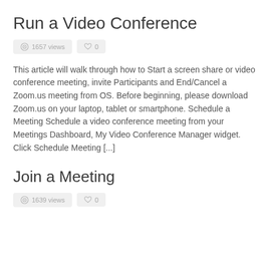Run a Video Conference
1657 views   0
This article will walk through how to Start a screen share or video conference meeting, invite Participants and End/Cancel a Zoom.us meeting from OS. Before beginning, please download Zoom.us on your laptop, tablet or smartphone. Schedule a Meeting Schedule a video conference meeting from your Meetings Dashboard, My Video Conference Manager widget. Click Schedule Meeting [...]
Join a Meeting
1639 views   0